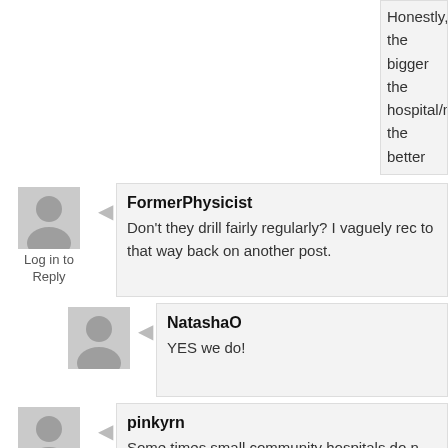Honestly, the bigger the hospital/more the better the outcomes, it's been shown in never birth in a community hospital pers want the most experienced, most up to on my baby. There are some community received babies from that aren't a *whol homebirth.
FormerPhysicist
Don't they drill fairly regularly? I vaguely rec to that way back on another post.
Log in to Reply
NatashaO
YES we do!
pinkyrn
Some times small community hospitals do n their staff can stay up to date. Also some of
Log in to Reply